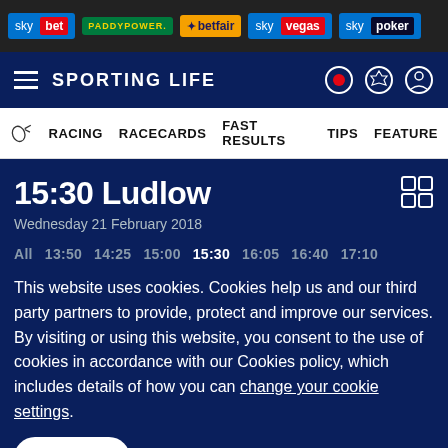sky bet | PADDYPOWER. | betfair | sky vegas | sky poker
SPORTING LIFE
RACING   RACECARDS   FAST RESULTS   TIPS   FEATURE
15:30 Ludlow
Wednesday 21 February 2018
All   13:50   14:25   15:00   15:30   16:05   16:40   17:10
This website uses cookies. Cookies help us and our third party partners to provide, protect and improve our services. By visiting or using this website, you consent to the use of cookies in accordance with our Cookies policy, which includes details of how you can change your cookie settings.
I accept